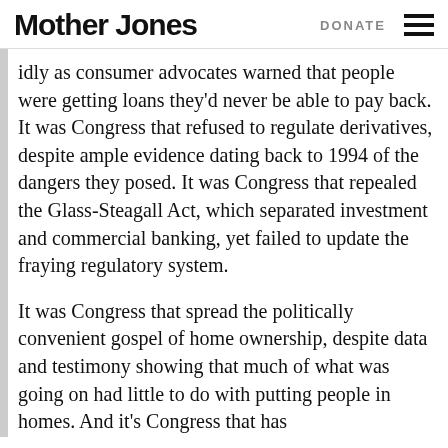Mother Jones | DONATE
idly as consumer advocates warned that people were getting loans they'd never be able to pay back. It was Congress that refused to regulate derivatives, despite ample evidence dating back to 1994 of the dangers they posed. It was Congress that repealed the Glass-Steagall Act, which separated investment and commercial banking, yet failed to update the fraying regulatory system.
It was Congress that spread the politically convenient gospel of home ownership, despite data and testimony showing that much of what was going on had little to do with putting people in homes. And it's Congress that has